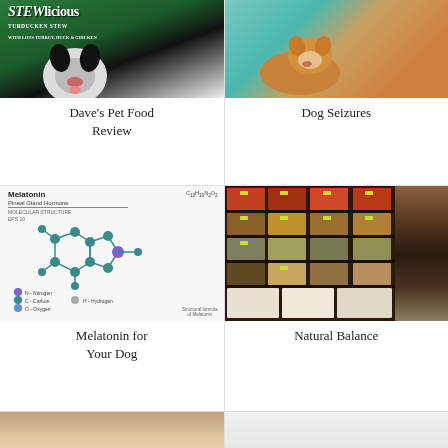[Figure (photo): Dave's Pet Food product can with a dog on the label, green background with text 'STEWlicious Turducken Stew']
Dave's Pet Food Review
[Figure (photo): Close-up photo of a dog (appears to be a Corgi or similar breed) lying on a teal/turquoise textured surface, being petted by human hands]
Dog Seizures
[Figure (illustration): Scientific illustration of the Melatonin molecular structure (Pineal Gland Hormone) with chemical formula C13H16N2O2, showing atoms in teal and purple, with legend for N, C, O, H]
Melatonin for Your Dog
[Figure (photo): Photo of bins/shelves filled with various natural grains, seeds, and spices in a bulk food or pet food store setting]
Natural Balance
[Figure (photo): Partial photo at bottom left, appears to show a landscape or outdoor scene]
[Figure (photo): Partial photo at bottom right, appears to show a light-colored surface or animal]